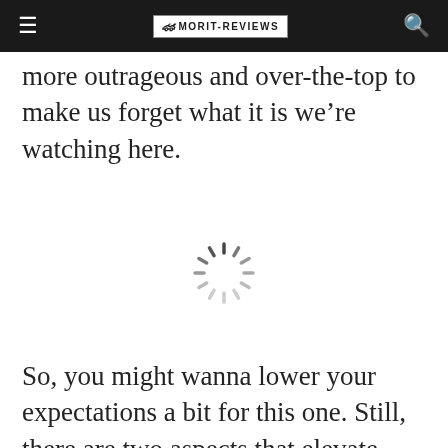≡  [MORIT-REVIEWS logo]  🔍
more outrageous and over-the-top to make us forget what it is we're watching here.
[Figure (other): Loading spinner / activity indicator icon — a circular arrangement of short radial lines in gray, resembling a buffering or loading animation.]
So, you might wanna lower your expectations a bit for this one. Still, there are two aspects that elevate Burke and Hare from your usual black comedies. The first one is the true story about William Burke and William Hare who really did these things. And since the premise i